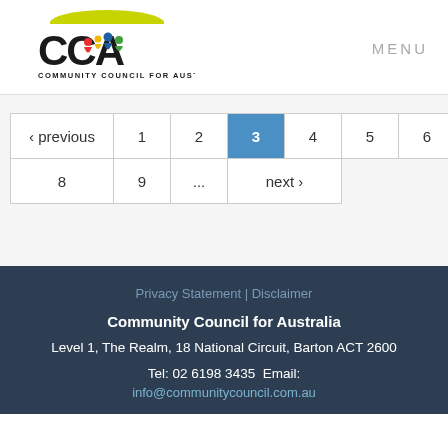[Figure (logo): CCA Community Council for Australia logo with colorful figures]
MENU
| ‹ previous | 1 | 2 | 3 | 4 | 5 | 6 | 7 |
| 8 | 9 | ... | next › |
Privacy Statement | Disclaimer
Community Council for Australia
Level 1, The Realm, 18 National Circuit, Barton ACT 2600
Tel: 02 6198 3435  Email:
info@communitycouncil.com.au